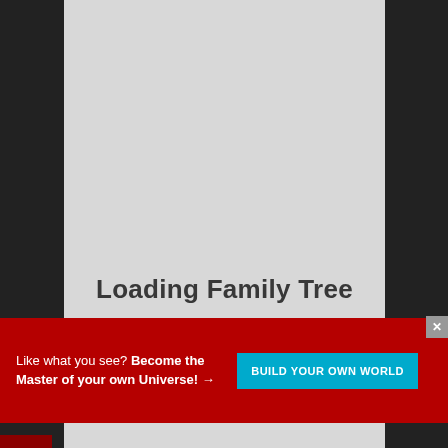[Figure (screenshot): Dark sidebar background on left and right, light gray center panel showing a family tree loading screen with the text 'Loading Family Tree'. A red hamburger menu button is visible on the left side. A red promotional banner at the bottom reads 'Like what you see? Become the Master of your own Universe! →' with a cyan 'BUILD YOUR OWN WORLD' button. A small close button is in the upper right of the banner.]
Loading Family Tree
Like what you see? Become the Master of your own Universe! →
BUILD YOUR OWN WORLD